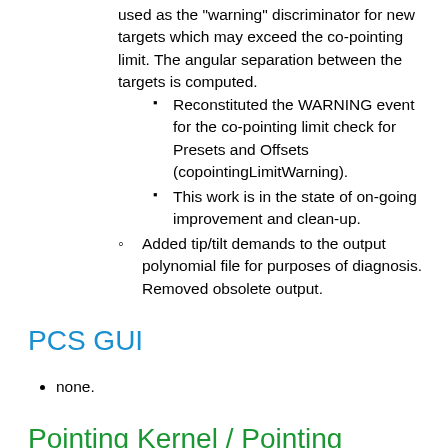used as the "warning" discriminator for new targets which may exceed the co-pointing limit. The angular separation between the targets is computed.
Reconstituted the WARNING event for the co-pointing limit check for Presets and Offsets (copointingLimitWarning).
This work is in the state of on-going improvement and clean-up.
Added tip/tilt demands to the output polynomial file for purposes of diagnosis. Removed obsolete output.
PCS GUI
none.
Pointing Kernel / Pointing Kernel tools
TPK Version-1.12
The latest pointing kernel is being deployed with